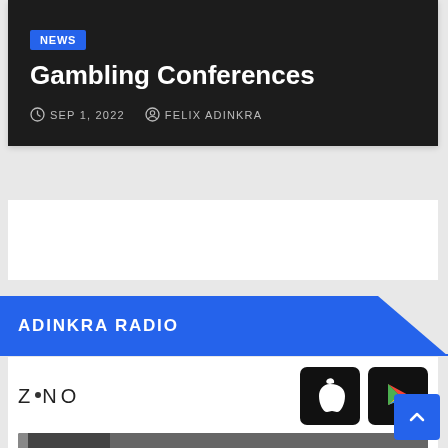[Figure (screenshot): Dark hero banner with NEWS badge, article title 'Gambling Conferences', date SEP 1, 2022, author FELIX ADINKRA]
Gambling Conferences
SEP 1, 2022   FELIX ADINKRA
ADINKRA RADIO
[Figure (screenshot): Zeno radio player widget with app store buttons (Apple and Google Play) and a dark audio player bar]